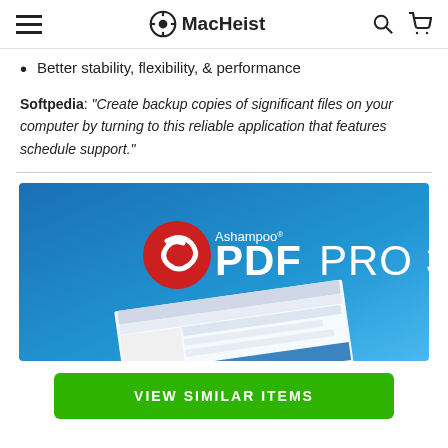MacHeist
Better stability, flexibility, & performance
Softpedia: "Create backup copies of significant files on your computer by turning to this reliable application that features schedule support."
[Figure (screenshot): Ashampoo PDF PRO 3 product banner with logo and application screenshot on blue gradient background]
VIEW SIMILAR ITEMS